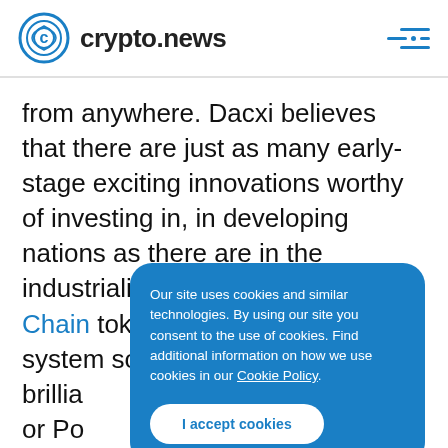crypto.news
from anywhere. Dacxi believes that there are just as many early-stage exciting innovations worthy of investing in, in developing nations as there are in the industrialized world. The Dacxi Chain tokenized crowdfunding system solves the probl[em...] brillia[nt...] or Po[...] to a g[...] good thing when they see it, regardless of
Our site uses cookies and similar technologies. By using our site you consent to the use of cookies. Find additional information on how we use cookies in our Cookie Policy.
I accept cookies